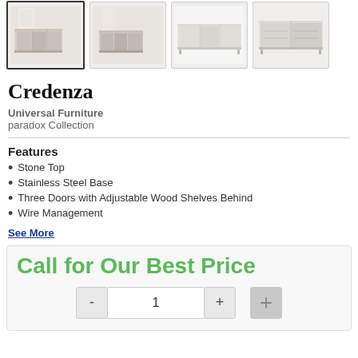[Figure (photo): Four product thumbnail images of a credenza/sideboard furniture piece from different angles: room setting with white credenza, another room angle, front view plain white background, and open interior view showing shelves.]
Credenza
Universal Furniture
paradox Collection
Features
Stone Top
Stainless Steel Base
Three Doors with Adjustable Wood Shelves Behind
Wire Management
See More
Call for Our Best Price